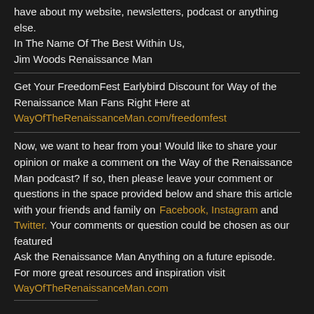have about my website, newsletters, podcast or anything else.
In The Name Of The Best Within Us,
Jim Woods Renaissance Man
Get Your FreedomFest Earlybird Discount for Way of the Renaissance Man Fans Right Here at WayOfTheRenaissanceMan.com/freedomfest
Now, we want to hear from you! Would like to share your opinion or make a comment on the Way of the Renaissance Man podcast? If so, then please leave your comment or questions in the space provided below and share this article with your friends and family on Facebook, Instagram and Twitter. Your comments or question could be chosen as our featured
Ask the Renaissance Man Anything on a future episode.
For more great resources and inspiration visit WayOfTheRenaissanceMan.com